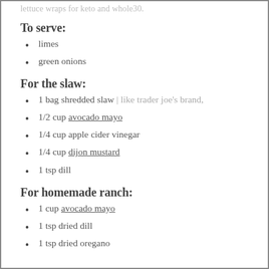lettuce wraps for keto and whole30.
To serve:
limes
green onions
For the slaw:
1 bag shredded slaw | like trader joe's brand,
1/2 cup avocado mayo
1/4 cup apple cider vinegar
1/4 cup dijon mustard
1 tsp dill
For homemade ranch:
1 cup avocado mayo
1 tsp dried dill
1 tsp dried oregano